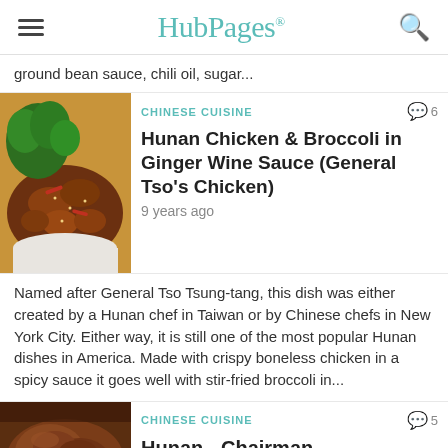HubPages
ground bean sauce, chili oil, sugar...
[Figure (photo): Photo of Hunan Chicken and Broccoli dish in a bowl with white rice]
CHINESE CUISINE
Hunan Chicken & Broccoli in Ginger Wine Sauce (General Tso's Chicken)
9 years ago
Named after General Tso Tsung-tang, this dish was either created by a Hunan chef in Taiwan or by Chinese chefs in New York City. Either way, it is still one of the most popular Hunan dishes in America. Made with crispy boneless chicken in a spicy sauce it goes well with stir-fried broccoli in...
[Figure (photo): Photo of Hunan Chairman dish]
CHINESE CUISINE
Hunan - Chairman